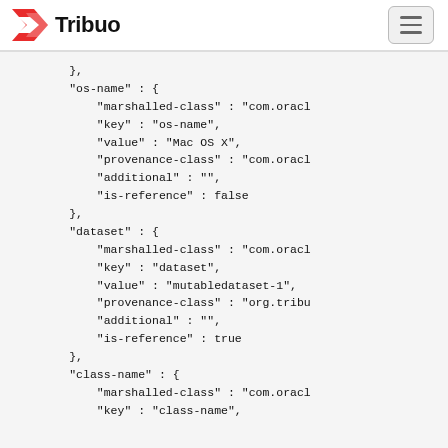Tribuo
},
"os-name" : {
    "marshalled-class" : "com.oracl
    "key" : "os-name",
    "value" : "Mac OS X",
    "provenance-class" : "com.oracl
    "additional" : "",
    "is-reference" : false
},
"dataset" : {
    "marshalled-class" : "com.oracl
    "key" : "dataset",
    "value" : "mutabledataset-1",
    "provenance-class" : "org.tribu
    "additional" : "",
    "is-reference" : true
},
"class-name" : {
    "marshalled-class" : "com.oracl
    "key" : "class-name",